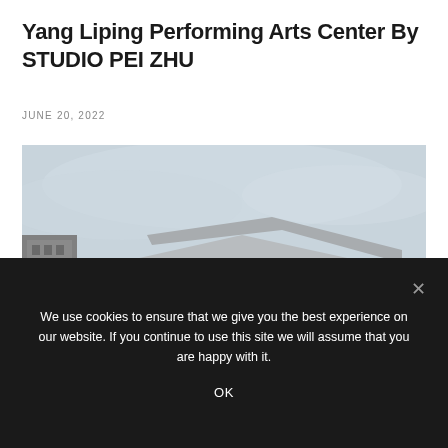Yang Liping Performing Arts Center By STUDIO PEI ZHU
JUNE 20, 2022
[Figure (photo): Exterior photograph of the Yang Liping Performing Arts Center showing a modern angular building with grey concrete walls and a large triangular glazed facade with warm interior lighting, overcast sky in background]
We use cookies to ensure that we give you the best experience on our website. If you continue to use this site we will assume that you are happy with it.
OK